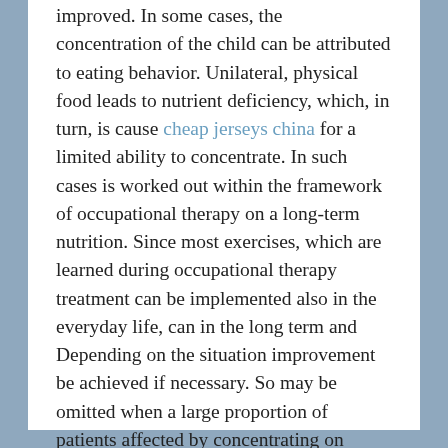improved. In some cases, the concentration of the child can be attributed to eating behavior. Unilateral, physical food leads to nutrient deficiency, which, in turn, is cause cheap jerseys china for a limited ability to concentrate. In such cases is worked out within the framework of occupational therapy on a long-term nutrition. Since most exercises, which are learned during occupational therapy treatment can be implemented also in the everyday life, can in the long term and Depending on the situation improvement be achieved if necessary. So may be omitted when a large proportion of patients affected by concentrating on drugs. Elisabeth Brechtel discusses the Cheap Jordans procedure for concentration and many other ergotherapeutisch adjustable problems. Of course like she answered questions.